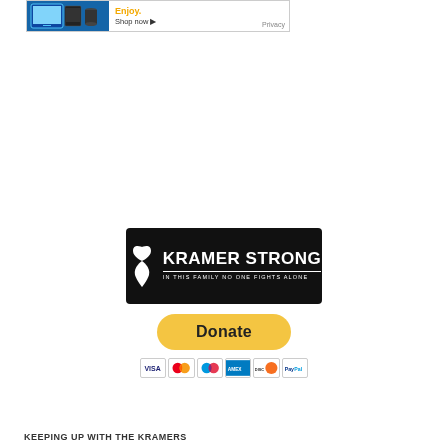[Figure (screenshot): Amazon advertisement banner showing tablet/Kindle devices with text 'Enjoy. Shop now' and a Privacy link]
[Figure (logo): Kramer Strong logo on black background with white awareness ribbon and text 'KRAMER STRONG - IN THIS FAMILY NO ONE FIGHTS ALONE']
[Figure (screenshot): PayPal Donate button in yellow/gold with payment card logos (Visa, Mastercard, Maestro, Amex, Discover, PayPal) below]
KEEPING UP WITH THE KRAMERS